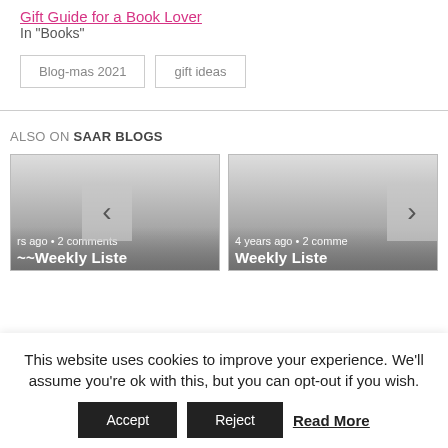Gift Guide for a Book Lover
In "Books"
Blog-mas 2021   gift ideas
ALSO ON SAAR BLOGS
[Figure (screenshot): Two blog post preview cards side by side with gray gradient backgrounds, navigation arrows on left and right. Left card shows: 'rs ago • 2 comments' and partial title 'Weekly Liste'. Right card shows: '4 years ago • 2 comme' and partial title 'Weekly Liste'.]
This website uses cookies to improve your experience. We'll assume you're ok with this, but you can opt-out if you wish. Accept Reject Read More